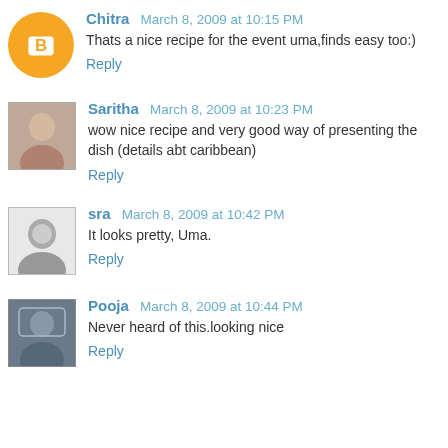Chitra  March 8, 2009 at 10:15 PM
Thats a nice recipe for the event uma,finds easy too:)
Reply
Saritha  March 8, 2009 at 10:23 PM
wow nice recipe and very good way of presenting the dish (details abt caribbean)
Reply
sra  March 8, 2009 at 10:42 PM
It looks pretty, Uma.
Reply
Pooja  March 8, 2009 at 10:44 PM
Never heard of this.looking nice
Reply